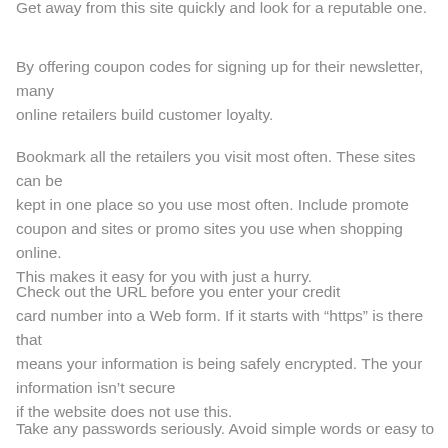Get away from this site quickly and look for a reputable one.
By offering coupon codes for signing up for their newsletter, many online retailers build customer loyalty.
Bookmark all the retailers you visit most often. These sites can be kept in one place so you use most often. Include promote coupon and sites or promo sites you use when shopping online. This makes it easy for you with just a hurry.
Check out the URL before you enter your credit card number into a Web form. If it starts with “https” is there that means your information is being safely encrypted. The your information isn’t secure if the website does not use this.
Take any passwords seriously. Avoid simple words or easy to